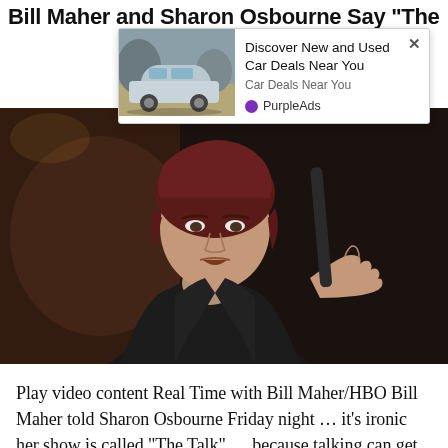Bill Maher and Sharon Osbourne Say "The
[Figure (screenshot): Advertisement overlay showing a silver SUV (Ford Explorer) in a rocky landscape with text 'Discover New and Used Car Deals Near You', subtext 'Car Deals Near You', and PurpleAds branding with a close button X]
[Figure (photo): Sharon Osbourne with short red/auburn hair, wearing a black blazer over a light-colored top, gesturing with her right hand raised, appearing to speak, against a dark stage background]
Play video content Real Time with Bill Maher/HBO Bill Maher told Sharon Osbourne Friday night … it’s ironic her show is called “The Talk” … because talking can get you canned. Sharon was Bill’s guest on “Real Time” and he,